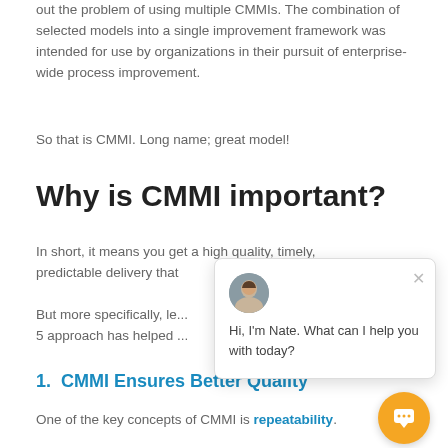out the problem of using multiple CMMIs. The combination of selected models into a single improvement framework was intended for use by organizations in their pursuit of enterprise-wide process improvement.
So that is CMMI. Long name; great model!
Why is CMMI important?
In short, it means you get a high quality, timely, predictable delivery that
But more specifically, let... 5 approach has helped...
1.  CMMI Ensures Better Quality
One of the key concepts of CMMI is repeatability.
[Figure (other): Chat popup with avatar of Nate and message: Hi, I'm Nate. What can I help you with today? with close button and orange chat launcher button.]